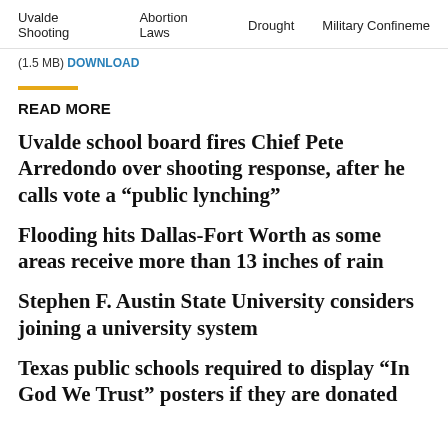Uvalde Shooting   Abortion Laws   Drought   Military Confinement
(1.5 MB) DOWNLOAD
READ MORE
Uvalde school board fires Chief Pete Arredondo over shooting response, after he calls vote a “public lynching”
Flooding hits Dallas-Fort Worth as some areas receive more than 13 inches of rain
Stephen F. Austin State University considers joining a university system
Texas public schools required to display “In God We Trust” posters if they are donated